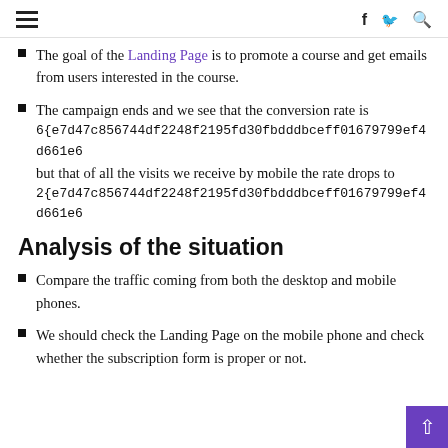≡  f  🐦  🔍
The goal of the Landing Page is to promote a course and get emails from users interested in the course.
The campaign ends and we see that the conversion rate is 6{e7d47c856744df2248f2195fd30fbdddbceff01679799ef4d661e6... but that of all the visits we receive by mobile the rate drops to 2{e7d47c856744df2248f2195fd30fbdddbceff01679799ef4d661e6...
Analysis of the situation
Compare the traffic coming from both the desktop and mobile phones.
We should check the Landing Page on the mobile phone and check whether the subscription form is proper or not.